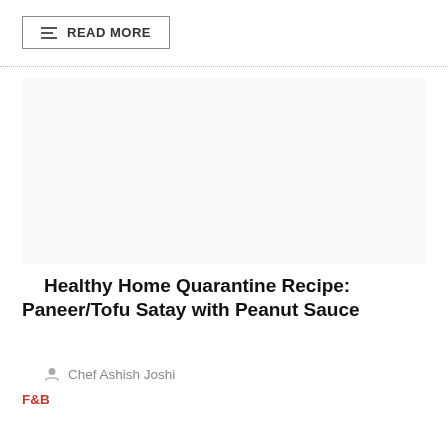READ MORE
[Figure (photo): Blank/white image placeholder for recipe article]
Healthy Home Quarantine Recipe: Paneer/Tofu Satay with Peanut Sauce
Chef Ashish Joshi
F&B